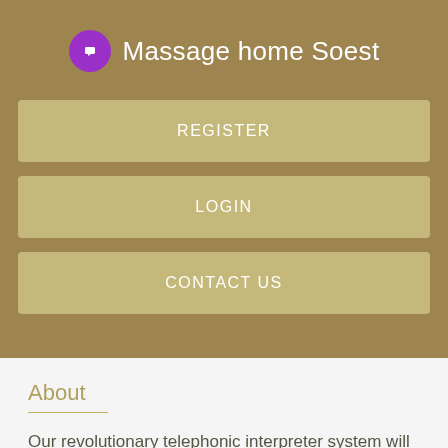Massage home Soest
REGISTER
LOGIN
CONTACT US
About
Our revolutionary telephonic interpreter system will allow Alliance Business Solutions LLC to break language barriers for Serbian to English communication for clients in Krefeld, Germany. Our clients in Krefeld, Germany will be able to access Serbian telephonic interpreters in real